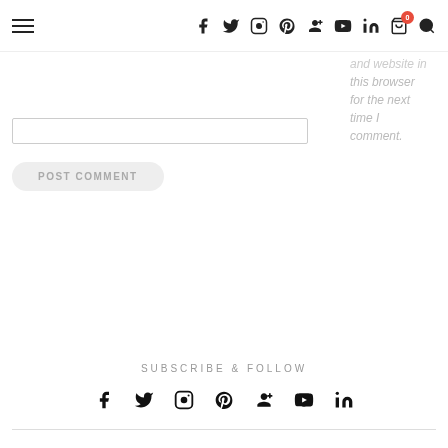Navigation bar with hamburger menu and social media icons including Facebook, Twitter, Instagram, Pinterest, Google+, YouTube, LinkedIn, cart (0), and search
and website in this browser for the next time I comment.
[text input field]
POST COMMENT
SUBSCRIBE & FOLLOW
Social media icons: Facebook, Twitter, Instagram, Pinterest, Google+, YouTube, LinkedIn
Horizontal rule